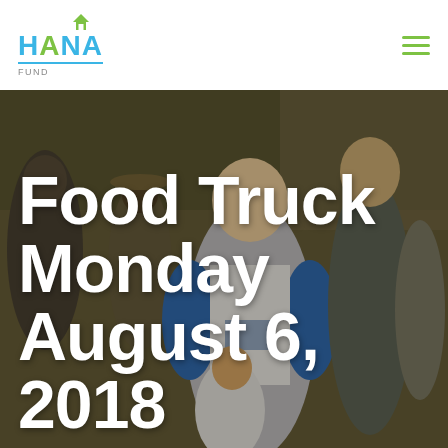[Figure (logo): HANA Fund logo with house icon, teal and green colors]
[Figure (photo): Outdoor crowd scene with people socializing, woman in blue and white Tasha Encinitas shirt in foreground, tall blond man on right, dark warm-toned photo]
Food Truck Monday August 6, 2018